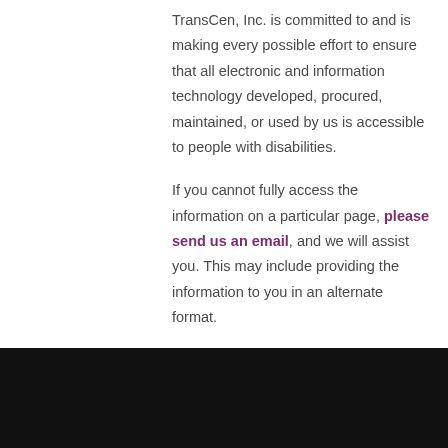TransCen, Inc. is committed to and is making every possible effort to ensure that all electronic and information technology developed, procured, maintained, or used by us is accessible to people with disabilities.

If you cannot fully access the information on a particular page, please send us an email, and we will assist you. This may include providing the information to you in an alternate format.
[Figure (other): Black footer bar at the bottom of the page]